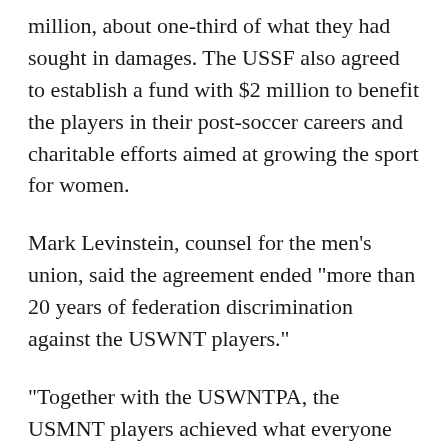million, about one-third of what they had sought in damages. The USSF also agreed to establish a fund with $2 million to benefit the players in their post-soccer careers and charitable efforts aimed at growing the sport for women.
Mark Levinstein, counsel for the men's union, said the agreement ended "more than 20 years of federation discrimination against the USWNT players."
"Together with the USWNTPA, the USMNT players achieved what everyone said was impossible — an agreement that provides fair compensation to the USMNT players and equal pay and equal working conditions to the USWNT players," he said. "The new federation leadership should get tremendous credit for working with the players to achieve these agreements."